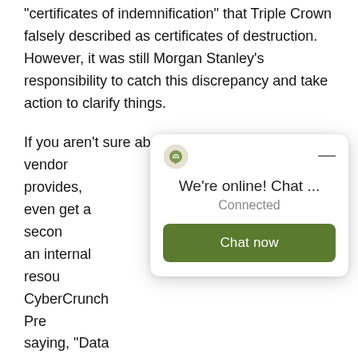“certificates of indemnification” that Triple Crown falsely described as certificates of destruction. However, it was still Morgan Stanley’s responsibility to catch this discrepancy and take action to clarify things.
If you aren’t sure about the documentation your vendor provides, even get a second opinion from an internal resource. CyberCrunch Pre saying, “Data destruction is half the battle — the other half is documentation is proof of destruction.” Having proper documentation o
[Figure (other): A live chat popup widget showing a logo, 'We're online! Chat ...' heading, 'Connected' status text, and a green 'Chat now' button with a minimize dash in the top right.]